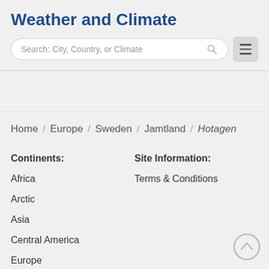Weather and Climate
[Figure (screenshot): Search bar with placeholder text 'Search: City, Country, or Climate' and a hamburger menu button]
Home / Europe / Sweden / Jamtland / Hotagen
Continents:
Site Information:
Africa
Terms & Conditions
Arctic
Asia
Central America
Europe